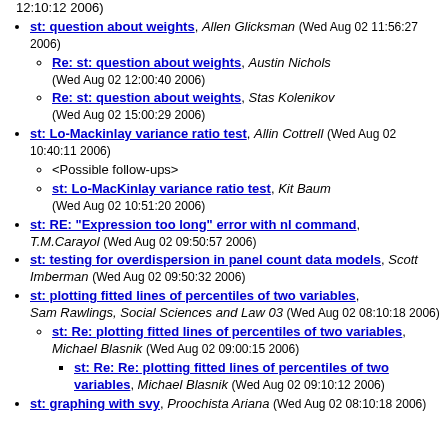12:10:12 2006)
st: question about weights, Allen Glicksman (Wed Aug 02 11:56:27 2006)
Re: st: question about weights, Austin Nichols (Wed Aug 02 12:00:40 2006)
Re: st: question about weights, Stas Kolenikov (Wed Aug 02 15:00:29 2006)
st: Lo-Mackinlay variance ratio test, Allin Cottrell (Wed Aug 02 10:40:11 2006)
<Possible follow-ups>
st: Lo-MacKinlay variance ratio test, Kit Baum (Wed Aug 02 10:51:20 2006)
st: RE: "Expression too long" error with nl command, T.M.Carayol (Wed Aug 02 09:50:57 2006)
st: testing for overdispersion in panel count data models, Scott Imberman (Wed Aug 02 09:50:32 2006)
st: plotting fitted lines of percentiles of two variables, Sam Rawlings, Social Sciences and Law 03 (Wed Aug 02 08:10:18 2006)
st: Re: plotting fitted lines of percentiles of two variables, Michael Blasnik (Wed Aug 02 09:00:15 2006)
st: Re: Re: plotting fitted lines of percentiles of two variables, Michael Blasnik (Wed Aug 02 09:10:12 2006)
st: graphing with svy, Proochista Ariana (Wed Aug 02 08:10:18 2006)